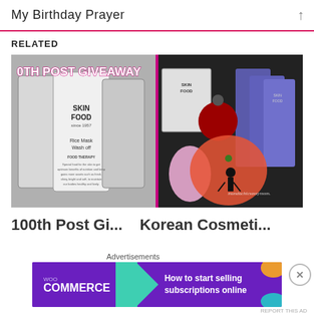My Birthday Prayer
RELATED
[Figure (photo): Two side-by-side images: left shows Skin Food Rice Mask Wash Off product packets in black and white with '0TH POST GIVEAWAY' overlay text; right shows Korean cosmetics products including Skin Food packets and other beauty items with 'mundachicsassymom' watermark.]
100th Post Gi...  Korean Cosmeti...
Advertisements
[Figure (screenshot): WooCommerce advertisement banner: purple background with WooCommerce logo, teal arrow, text 'How to start selling subscriptions online', orange and teal decorative shapes.]